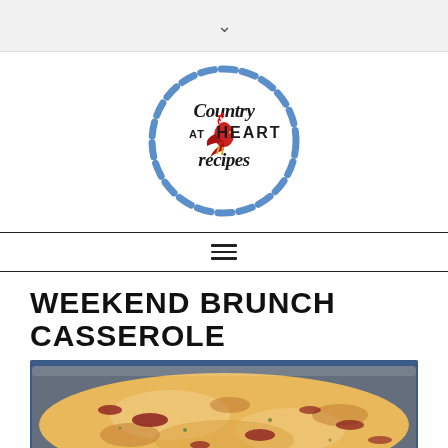[Figure (logo): Country At Heart Recipes circular logo with dashed blue border and a red rooster illustration]
[Figure (other): Hamburger menu icon (three horizontal lines)]
WEEKEND BRUNCH CASSEROLE
[Figure (photo): Photo of a baked brunch casserole in a glass baking dish, showing golden cheesy top with bits of meat, on a blue patterned surface]